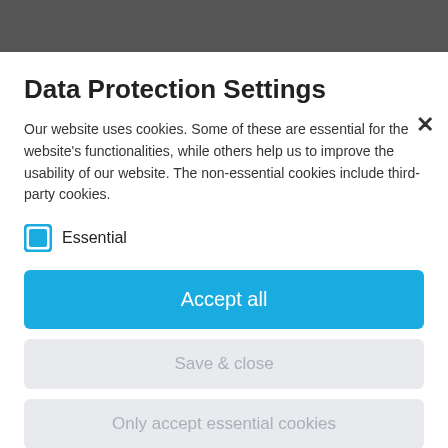Data Protection Settings
Our website uses cookies. Some of these are essential for the website's functionalities, while others help us to improve the usability of our website. The non-essential cookies include third-party cookies.
Essential
Accept all
Save & close
Only accept essential cookies
More information
Data Protection | Imprint